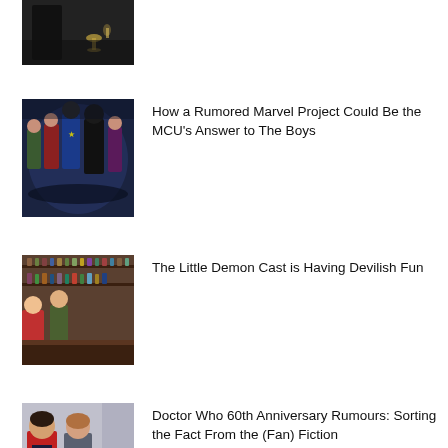[Figure (photo): Partial image at top showing dark scene with candles/goblet]
[Figure (photo): Group of superhero characters from a Marvel-style show]
How a Rumored Marvel Project Could Be the MCU's Answer to The Boys
[Figure (photo): Animated scene from Little Demon showing characters at a bar]
The Little Demon Cast is Having Devilish Fun
[Figure (photo): Two actors from Doctor Who, a man in red jacket and a woman]
Doctor Who 60th Anniversary Rumours: Sorting the Fact From the (Fan) Fiction